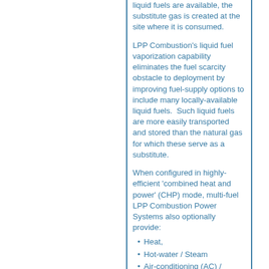liquid fuels are available, the substitute gas is created at the site where it is consumed.
LPP Combustion’s liquid fuel vaporization capability eliminates the fuel scarcity obstacle to deployment by improving fuel-supply options to include many locally-available liquid fuels.  Such liquid fuels are more easily transported and stored than the natural gas for which these serve as a substitute.
When configured in highly-efficient ‘combined heat and power’ (CHP) mode, multi-fuel LPP Combustion Power Systems also optionally provide:
Heat,
Hot-water / Steam
Air-conditioning (AC) /